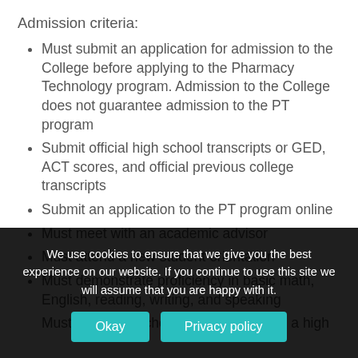Admission criteria:
Must submit an application for admission to the College before applying to the Pharmacy Technology program. Admission to the College does not guarantee admission to the PT program
Submit official high school transcripts or GED, ACT scores, and official previous college transcripts
Submit an application to the PT program online
Must meet with an academic advisor
Must attend a new student orientation
Must demonstrate proficiency in basic math, English, reading, writing, and speaking
Must be a high school graduate or have a high
We use cookies to ensure that we give you the best experience on our website. If you continue to use this site we will assume that you are happy with it.